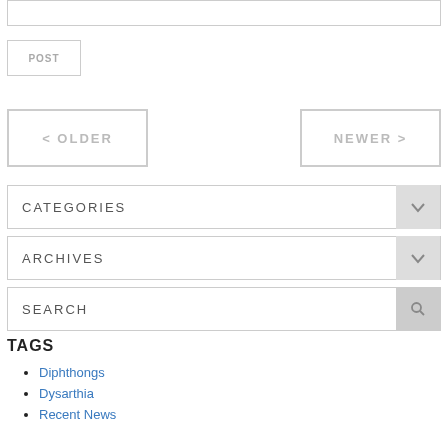[input text box]
POST
< OLDER
NEWER >
CATEGORIES
ARCHIVES
SEARCH
TAGS
Diphthongs
Dysarthia
Recent News